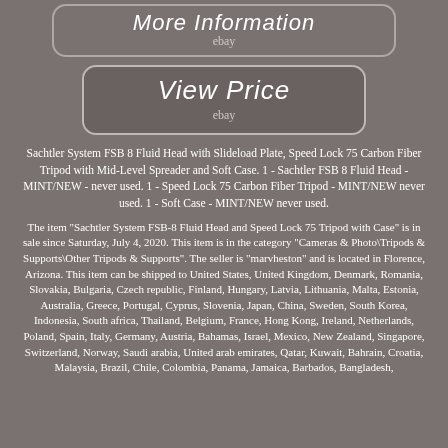[Figure (screenshot): Button with italic script text 'More Information' and 'ebay' subtitle, rounded rectangle border on grey background]
[Figure (screenshot): Button with italic script text 'View Price' and 'ebay' subtitle, rounded rectangle border on slightly darker grey background]
Sachtler System FSB 8 Fluid Head with Slideload Plate, Speed Lock 75 Carbon Fiber Tripod with Mid-Level Spreader and Soft Case. 1 - Sachtler FSB 8 Fluid Head - MINT/NEW - never used. 1 - Speed Lock 75 Carbon Fiber Tripod - MINT/NEW never used. 1 - Soft Case - MINT/NEW never used.
The item "Sachtler System FSB-8 Fluid Head and Speed Lock 75 Tripod with Case" is in sale since Saturday, July 4, 2020. This item is in the category "Cameras & Photo\Tripods & Supports\Other Tripods & Supports". The seller is "marvheston" and is located in Florence, Arizona. This item can be shipped to United States, United Kingdom, Denmark, Romania, Slovakia, Bulgaria, Czech republic, Finland, Hungary, Latvia, Lithuania, Malta, Estonia, Australia, Greece, Portugal, Cyprus, Slovenia, Japan, China, Sweden, South Korea, Indonesia, South africa, Thailand, Belgium, France, Hong Kong, Ireland, Netherlands, Poland, Spain, Italy, Germany, Austria, Bahamas, Israel, Mexico, New Zealand, Singapore, Switzerland, Norway, Saudi arabia, United arab emirates, Qatar, Kuwait, Bahrain, Croatia, Malaysia, Brazil, Chile, Colombia, Panama, Jamaica, Barbados, Bangladesh,